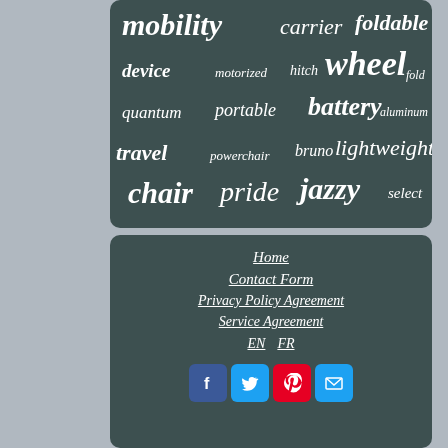[Figure (infographic): Tag cloud on dark teal/slate background with mobility-related terms in varying sizes: mobility, carrier, foldable, device, motorized, hitch, wheel, fold, quantum, portable, battery, aluminum, travel, powerchair, bruno, lightweight, chair, pride, jazzy, select]
Home
Contact Form
Privacy Policy Agreement
Service Agreement
EN  FR
[Figure (infographic): Social media icon buttons: Facebook (blue), Twitter (blue), Pinterest (red), Email (blue)]